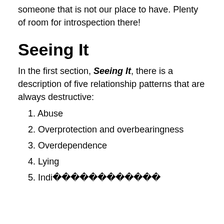someone that is not our place to have. Plenty of room for introspection there!
Seeing It
In the first section, Seeing It, there is a description of five relationship patterns that are always destructive:
1. Abuse
2. Overprotection and overbearingness
3. Overdependence
4. Lying
5. (partially visible)